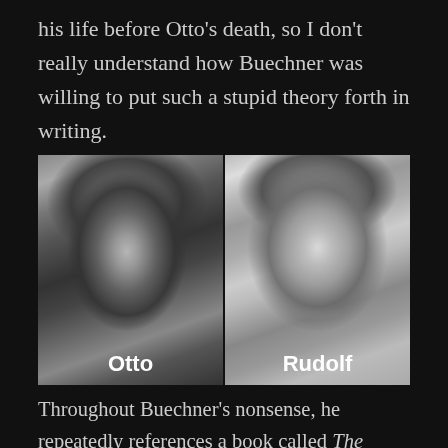his life before Otto's death, so I don't really understand how Buechner was willing to put such a stupid theory forth in writing.
[Figure (photo): Two side-by-side black and white portrait photographs labeled 'Otto' (left) and 'Rudolf' (right)]
Throughout Buechner's nonsense, he repeatedly references a book called The Occult and the Third Reich. A few years ago, this would have been enough to